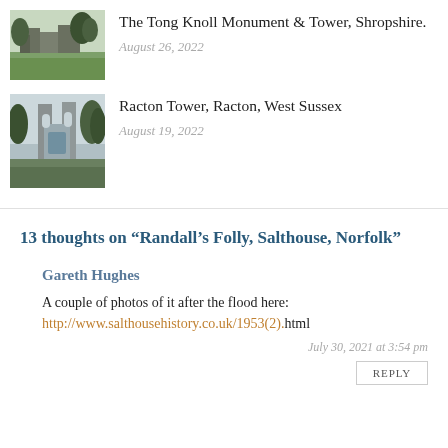[Figure (photo): Ruins of Tong Knoll Monument and Tower with greenery, Shropshire]
The Tong Knoll Monument & Tower, Shropshire.
August 26, 2022
[Figure (photo): Racton Tower ruins with trees, West Sussex]
Racton Tower, Racton, West Sussex
August 19, 2022
13 thoughts on “Randall’s Folly, Salthouse, Norfolk”
Gareth Hughes
A couple of photos of it after the flood here: http://www.salthousehistory.co.uk/1953(2).html
July 30, 2021 at 3:54 pm
REPLY